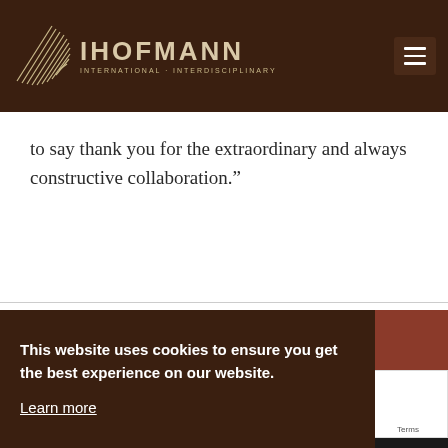IHOFMANN INTERNATIONAL - INTERDISCIPLINARY
to say thank you for the extraordinary and always constructive collaboration.”
This website uses cookies to ensure you get the best experience on our website. Learn more
Got it
[Figure (logo): Deutsches Museum logo strip at bottom]
[Figure (photo): Partial photo of a person in dark suit, partially visible on right side]